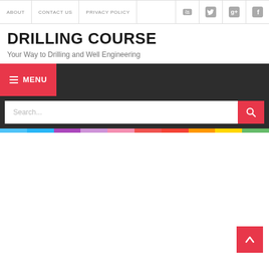ABOUT | CONTACT US | PRIVACY POLICY
DRILLING COURSE
Your Way to Drilling and Well Engineering
MENU
[Figure (screenshot): Search input bar with red search button]
[Figure (infographic): Rainbow color stripe bar]
[Figure (other): Red back-to-top button with white upward chevron arrow at bottom right]